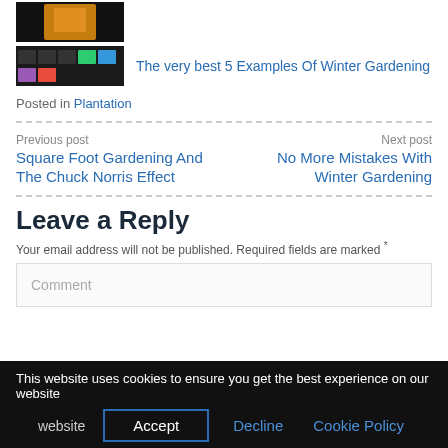[Figure (photo): Thumbnail image with dark background and orange object (partial, cropped at top)]
[Figure (photo): Thumbnail strip of small images with colorful icons on dark background]
The very best 5 Examples Of Winter Gardening
Posted in Plantation
Previous post
Square Foot Gardening And The Chuck Norris Effect
Next post
No More Mistakes With Winter Gardening
Leave a Reply
Your email address will not be published. Required fields are marked *
Comment
This website uses cookies to ensure you get the best experience on our website
Accept
Decline
Cookie Policy